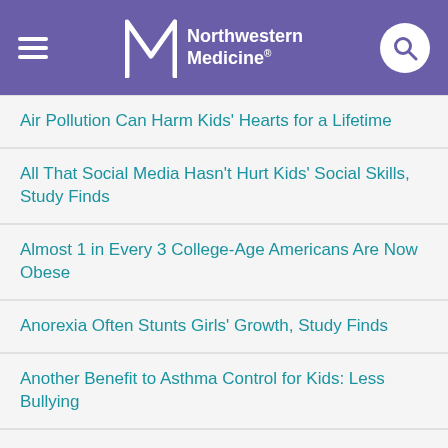Northwestern Medicine
Air Pollution Can Harm Kids' Hearts for a Lifetime
All That Social Media Hasn't Hurt Kids' Social Skills, Study Finds
Almost 1 in Every 3 College-Age Americans Are Now Obese
Anorexia Often Stunts Girls' Growth, Study Finds
Another Benefit to Asthma Control for Kids: Less Bullying
Another Long-Term Health Issue Tied to Abuse in Childhood: Cholesterol
Antibiotics in Pregnancy Tied to Higher Odds for Asthma in Kids